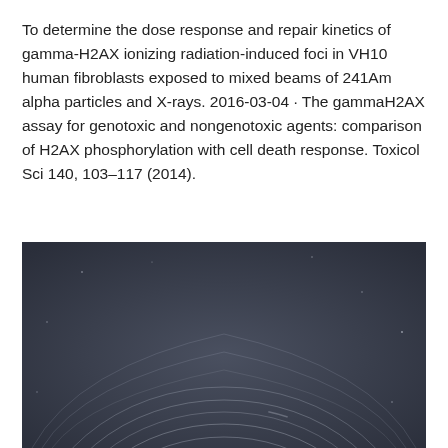To determine the dose response and repair kinetics of gamma-H2AX ionizing radiation-induced foci in VH10 human fibroblasts exposed to mixed beams of 241Am alpha particles and X-rays. 2016-03-04 · The gammaH2AX assay for genotoxic and nongenotoxic agents: comparison of H2AX phosphorylation with cell death response. Toxicol Sci 140, 103–117 (2014).
[Figure (photo): Long-exposure night sky photograph showing concentric star trail circles against a dark grey-blue background, suggesting a polar star trail image taken over an extended period.]